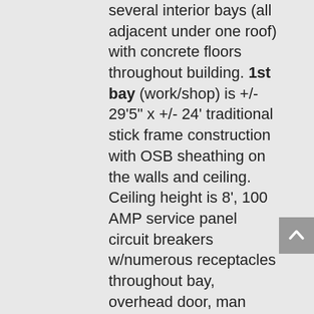several interior bays (all adjacent under one roof) with concrete floors throughout building. 1st bay (work/shop) is +/- 29'5" x +/- 24' traditional stick frame construction with OSB sheathing on the walls and ceiling. Ceiling height is 8', 100 AMP service panel circuit breakers w/numerous receptacles throughout bay, overhead door, man door, fluorescent lighting, 2nd bay is +/- 13'3" x +/- 24' tool room with 5' paneled exterior door, fluorescent lighting, pole building construction. 3rd bay is +/- 12' x +/- 24' primarily used as storage space. 4th bay (work/shop) is +/- 35' x +/- 24' with a 200 AMP service panel circuit breakers, +/- 9' ceiling height, pole building construction, 1-overhead